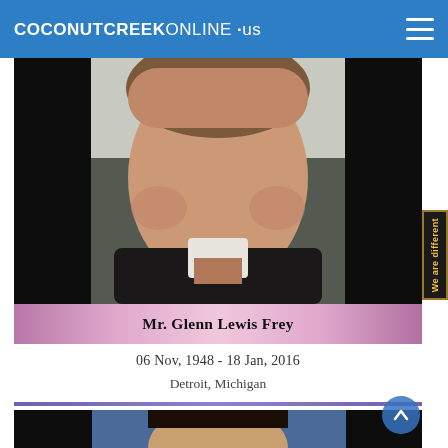COCONUTCREEKONLINE .us
[Figure (photo): Portrait photo of Mr. Glenn Lewis Frey, a middle-aged man in a dark suit against a light background]
Mr. Glenn Lewis Frey
06 Nov, 1948 - 18 Jan, 2016
Detroit, Michigan
[Figure (photo): Portrait photo of a man with long dark hair against a blue background]